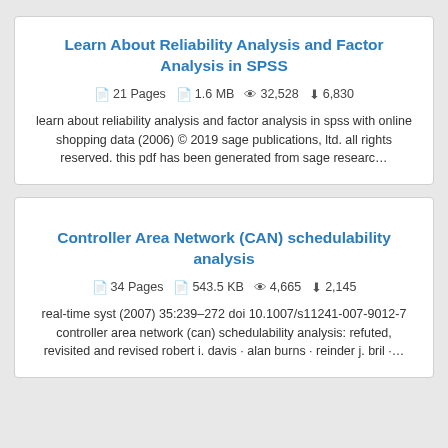Learn About Reliability Analysis and Factor Analysis in SPSS
21 Pages  1.6 MB  32,528  6,830
learn about reliability analysis and factor analysis in spss with online shopping data (2006) © 2019 sage publications, ltd. all rights reserved. this pdf has been generated from sage researc…
Controller Area Network (CAN) schedulability analysis
34 Pages  543.5 KB  4,665  2,145
real-time syst (2007) 35:239–272 doi 10.1007/s11241-007-9012-7 controller area network (can) schedulability analysis: refuted, revisited and revised robert i. davis · alan burns · reinder j. bril ·…